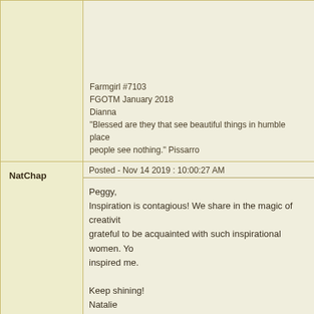Farmgirl #7103
FGOTM January 2018
Dianna
"Blessed are they that see beautiful things in humble places where other people see nothing." Pissarro
NatChap
Posted - Nov 14 2019 : 10:00:27 AM
Peggy,
Inspiration is contagious! We share in the magic of creativity. I am so grateful to be acquainted with such inspirational women. You have inspired me.

Keep shining!
Natalie

"Ask what makes you come alive and go do it." ~Howard T
willowpatches
Posted - Nov 14 2019 : 08:24:36 AM